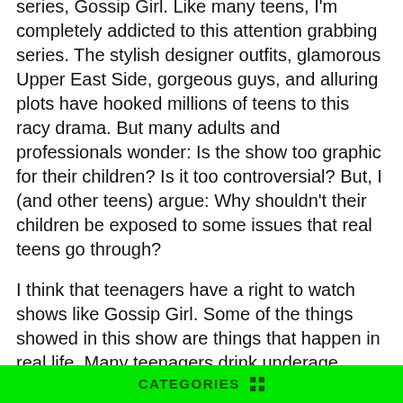series, Gossip Girl. Like many teens, I'm completely addicted to this attention grabbing series. The stylish designer outfits, glamorous Upper East Side, gorgeous guys, and alluring plots have hooked millions of teens to this racy drama. But many adults and professionals wonder: Is the show too graphic for their children? Is it too controversial? But, I (and other teens) argue: Why shouldn't their children be exposed to some issues that real teens go through?
I think that teenagers have a right to watch shows like Gossip Girl. Some of the things showed in this show are things that happen in real life. Many teenagers drink underage, question their sexuality, and have sexual activities before marriage. This is not unusual. It's called reality. Adults do not want to their children to see these things, but in truth, these things happen in their teenagers' lives, whether they are directly or indirectly exposed to it. I do not believe that shows are the reason for teenage sex, underage drinking, smoking, etc. These are just issues that happen naturally to teenagers, irrespective of the addition
CATEGORIES